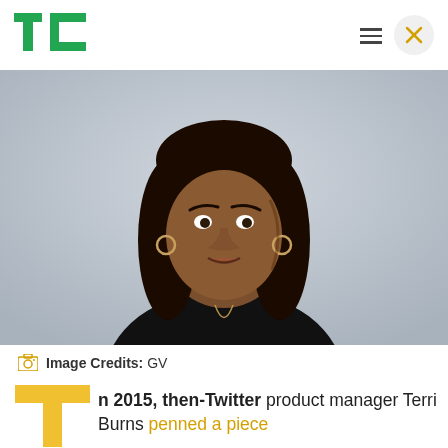TechCrunch logo, hamburger menu, close button
[Figure (photo): Portrait photo of Terri Burns, a young Black woman with long dark hair, wearing a black turtleneck and gold hoop earrings, against a light grey background.]
Image Credits: GV
n 2015, then-Twitter product manager Terri Burns penned a piece